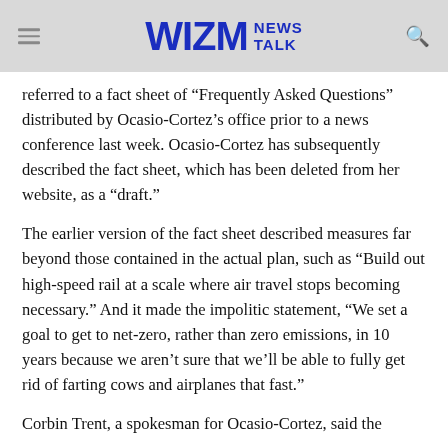WIZM NEWS TALK
referred to a fact sheet of “Frequently Asked Questions” distributed by Ocasio-Cortez’s office prior to a news conference last week. Ocasio-Cortez has subsequently described the fact sheet, which has been deleted from her website, as a “draft.”
The earlier version of the fact sheet described measures far beyond those contained in the actual plan, such as “Build out high-speed rail at a scale where air travel stops becoming necessary.” And it made the impolitic statement, “We set a goal to get to net-zero, rather than zero emissions, in 10 years because we aren’t sure that we’ll be able to fully get rid of farting cows and airplanes that fast.”
Corbin Trent, a spokesman for Ocasio-Cortez, said the